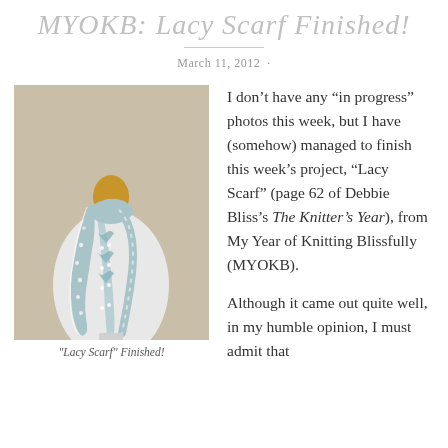MYOKB: "Lacy Scarf" Finished!
March 11, 2012
[Figure (photo): A blue and white lacy knitted scarf draped on a white dress form mannequin with a wooden head, against a beige background.]
"Lacy Scarf" Finished!
I don't have any “in progress” photos this week, but I have (somehow) managed to finish this week’s project, “Lacy Scarf” (page 62 of Debbie Bliss’s The Knitter’s Year), from My Year of Knitting Blissfully (MYOKB).
Although it came out quite well, in my humble opinion, I must admit that